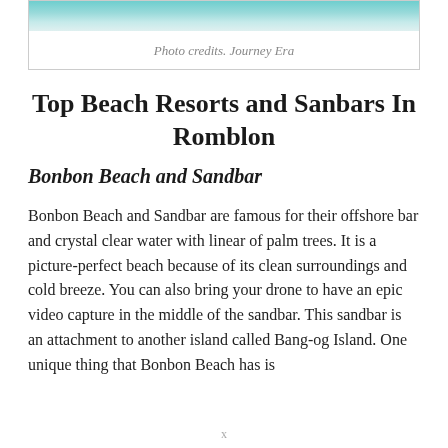[Figure (photo): Top portion of a beach photo showing turquoise water and sandy shoreline with palm trees, partially cropped at the top of the page.]
Photo credits. Journey Era
Top Beach Resorts and Sanbars In Romblon
Bonbon Beach and Sandbar
Bonbon Beach and Sandbar are famous for their offshore bar and crystal clear water with linear of palm trees. It is a picture-perfect beach because of its clean surroundings and cold breeze. You can also bring your drone to have an epic video capture in the middle of the sandbar. This sandbar is an attachment to another island called Bang-og Island. One unique thing that Bonbon Beach has is
x